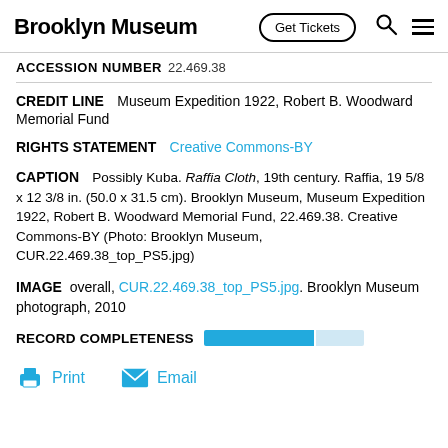Brooklyn Museum  Get Tickets
ACCESSION NUMBER  22.469.38
CREDIT LINE  Museum Expedition 1922, Robert B. Woodward Memorial Fund
RIGHTS STATEMENT  Creative Commons-BY
CAPTION  Possibly Kuba. Raffia Cloth, 19th century. Raffia, 19 5/8 x 12 3/8 in. (50.0 x 31.5 cm). Brooklyn Museum, Museum Expedition 1922, Robert B. Woodward Memorial Fund, 22.469.38. Creative Commons-BY (Photo: Brooklyn Museum, CUR.22.469.38_top_PS5.jpg)
IMAGE  overall, CUR.22.469.38_top_PS5.jpg. Brooklyn Museum photograph, 2010
RECORD COMPLETENESS
Print  Email